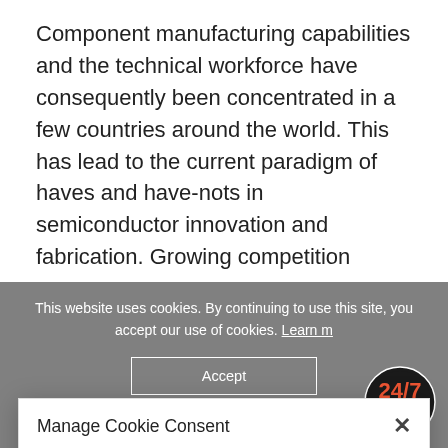Component manufacturing capabilities and the technical workforce have consequently been concentrated in a few countries around the world. This has lead to the current paradigm of haves and have-nots in semiconductor innovation and fabrication. Growing competition
Manage Cookie Consent
We use cookies to optimise our website and our service.
Accept cookies
This website uses cookies. By continuing to use this site, you accept our use of cookies. Learn m...
Accept